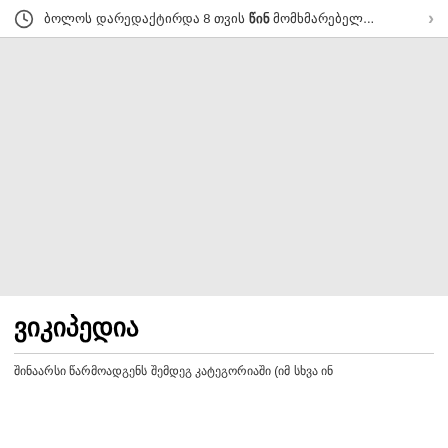ბოლოს დარედაქტირდა 8 თვის წინ მომხმარებელ...
[Figure (other): Large gray blank area placeholder image region]
ვიკიპედია
შინაარსი წარმოადგენს შემდეგ კატეგორიაში (იმ სხვა ინ